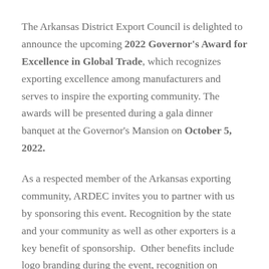The Arkansas District Export Council is delighted to announce the upcoming 2022 Governor's Award for Excellence in Global Trade, which recognizes exporting excellence among manufacturers and serves to inspire the exporting community. The awards will be presented during a gala dinner banquet at the Governor's Mansion on October 5, 2022.
As a respected member of the Arkansas exporting community, ARDEC invites you to partner with us by sponsoring this event. Recognition by the state and your community as well as other exporters is a key benefit of sponsorship. Other benefits include logo branding during the event, recognition on ARDEC website, and tickets to the event, as well as media coverage.